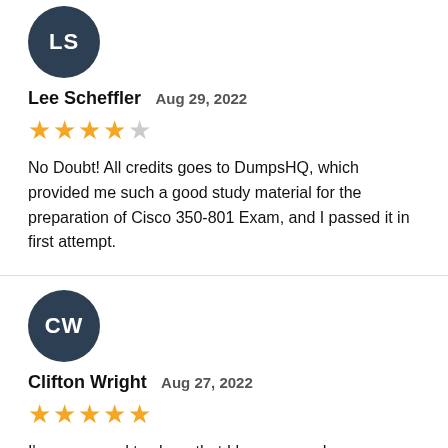[Figure (illustration): Dark navy circle avatar with initials LS in white bold text]
Lee Scheffler  Aug 29, 2022
[Figure (other): 5-star rating with 4 filled gold stars and 1 empty/grey star]
No Doubt! All credits goes to DumpsHQ, which provided me such a good study material for the preparation of Cisco 350-801 Exam, and I passed it in first attempt.
[Figure (illustration): Dark navy circle avatar with initials CW in white bold text]
Clifton Wright  Aug 27, 2022
[Figure (other): 5-star rating with 5 filled gold stars]
I'm very proud to share that I have passed